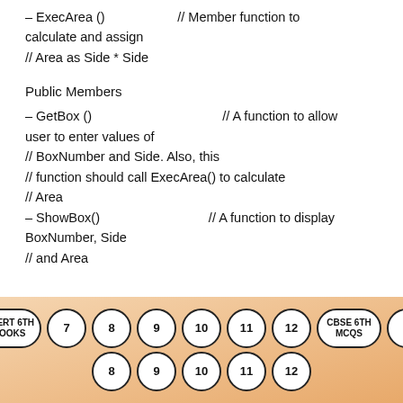– ExecArea ()                    // Member function to calculate and assign
// Area as Side * Side
Public Members
– GetBox ()                                    // A function to allow user to enter values of
// BoxNumber and Side. Also, this
// function should call ExecArea() to calculate
// Area
– ShowBox()                              // A function to display BoxNumber, Side
// and Area
[Figure (infographic): Navigation bubbles: NCERT 6TH BOOKS, 7, 8, 9, 10, 11, 12, CBSE 6TH MCQS, 7 in first row; 8, 9, 10, 11, 12 in second row]